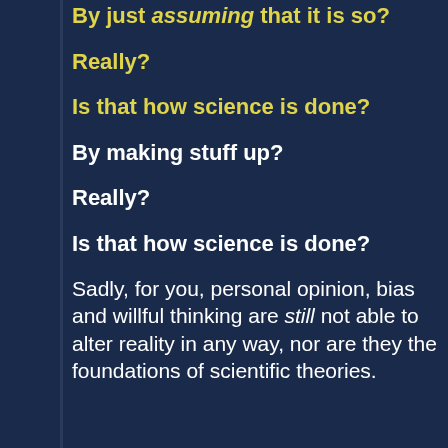By just assuming that it is so?
Really?
Is that how science is done?
By making stuff up?
Really?
Is that how science is done?
Sadly, for you, personal opinion, bias and willful thinking are still not able to alter reality in any way, nor are they the foundations of scientific theories.